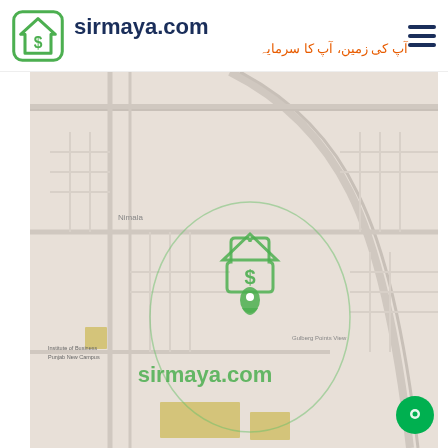sirmaya.com — آپ کی زمین، آپ کا سرمایہ
[Figure (map): Google Maps view showing a location pin with the sirmaya.com logo (house with dollar sign) overlaid on a street map. The map shows roads, an area labeled 'Nimala', and text 'sirmaya.com' in green beneath the pin marker.]